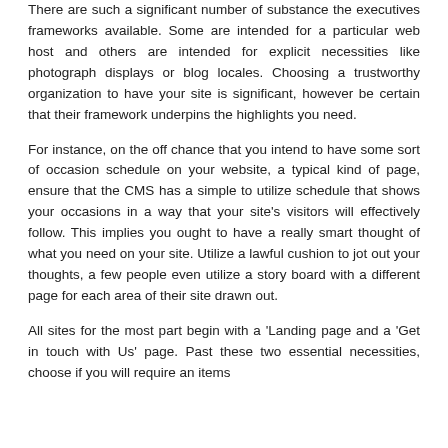There are such a significant number of substance the executives frameworks available. Some are intended for a particular web host and others are intended for explicit necessities like photograph displays or blog locales. Choosing a trustworthy organization to have your site is significant, however be certain that their framework underpins the highlights you need.
For instance, on the off chance that you intend to have some sort of occasion schedule on your website, a typical kind of page, ensure that the CMS has a simple to utilize schedule that shows your occasions in a way that your site's visitors will effectively follow. This implies you ought to have a really smart thought of what you need on your site. Utilize a lawful cushion to jot out your thoughts, a few people even utilize a story board with a different page for each area of their site drawn out.
All sites for the most part begin with a 'Landing page and a 'Get in touch with Us' page. Past these two essential necessities, choose if you will require an items